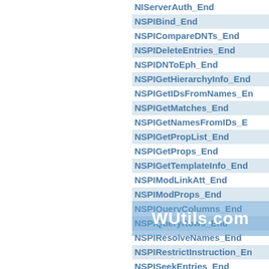NIServerAuth_End
NSPIBind_End
NSPICompareDNTs_End
NSPIDeleteEntries_End
NSPIDNToEph_End
NSPIGetHierarchyInfo_End
NSPIGetIDsFromNames_End
NSPIGetMatches_End
NSPIGetNamesFromIDs_End
NSPIGetPropList_End
NSPIGetProps_End
NSPIGetTemplateInfo_End
NSPIModLinkAtt_End
NSPIModProps_End
NSPIQueryColumns_End
NSPIQueryRows_End
NSPIResolveNames_End
NSPIRestrictInstruction_End
NSPISeekEntries_End
N...